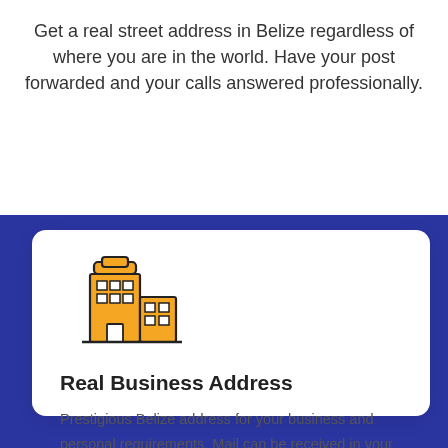Get a real street address in Belize regardless of where you are in the world. Have your post forwarded and your calls answered professionally.
[Figure (illustration): Icon of a multi-story office building with yellow/amber windows and a smaller adjacent building, outlined in dark with orange fill]
Real Business Address
Prestigious Belize address for your business and personal requirements. Mail can be received in your company name.